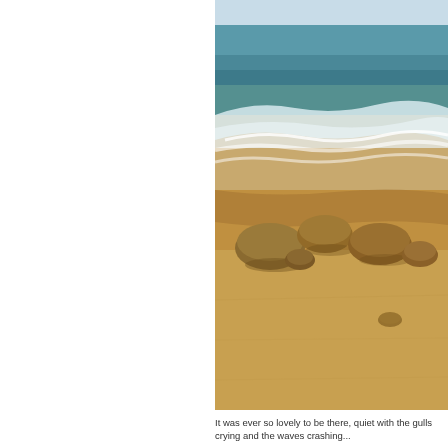[Figure (photo): A beach scene showing golden sandy shore with scattered rocks in the foreground, white ocean waves washing onto the beach, and turquoise-blue sea with a pale blue sky in the background.]
It was ever so lovely to be there, quiet with the gulls crying and the waves crashing...